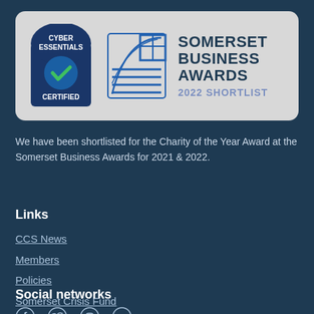[Figure (logo): Cyber Essentials Certified badge and Somerset Business Awards 2022 Shortlist badge side by side on a grey rounded panel]
We have been shortlisted for the Charity of the Year Award at the Somerset Business Awards for 2021 & 2022.
Links
CCS News
Members
Policies
Somerset Crisis Fund
Vacancies
Social networks